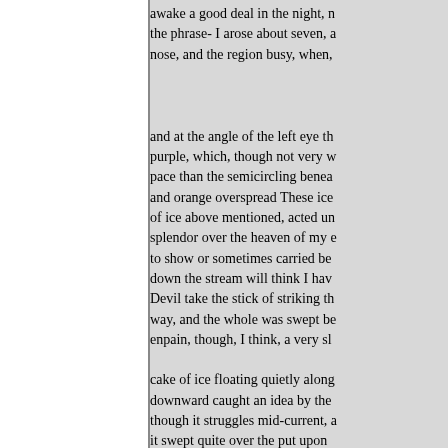awake a good deal in the night, the phrase- I arose about seven, a nose, and the region busy, when,
and at the angle of the left eye th purple, which, though not very w pace than the semicircling benea and orange overspread These ice of ice above mentioned, acted u splendor over the heaven of my to show or sometimes carried be down the stream will think I hav Devil take the stick of striking th way, and the whole was swept b enpain, though, I think, a very sl cake of ice floating quietly along downward caught an idea by the though it struggles mid-current, it swept quite over the put upon and finished reading the article n is now nearly the centre of the st quite Then I read Margaret's